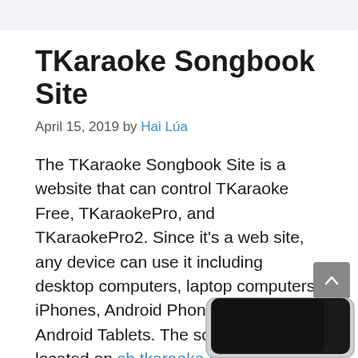TKaraoke Songbook Site
April 15, 2019 by Hai Lúa
The TKaraoke Songbook Site is a website that can control TKaraoke Free, TKaraokePro, and TKaraokePro2. Since it's a web site, any device can use it including desktop computers, laptop computers, iPhones, Android Phones, iPad, and Android Tablets. The songbook site is located on sb.tkaraoke.com.
[Figure (screenshot): Corner of a device (tablet or phone) visible at bottom-right of the page]